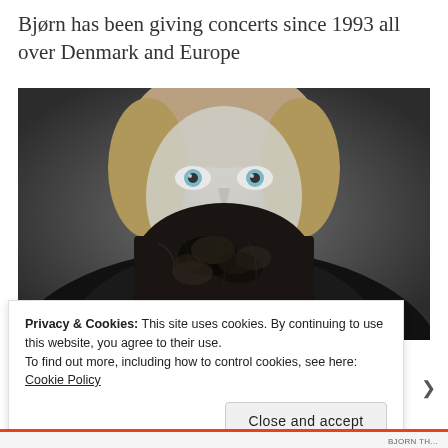Bjørn has been giving concerts since 1993 all over Denmark and Europe
[Figure (photo): Black and white close-up portrait of a man with light eyes and curly hair, wearing a dark mask or cloth covering the lower half of his face, against a dark background.]
Privacy & Cookies: This site uses cookies. By continuing to use this website, you agree to their use.
To find out more, including how to control cookies, see here: Cookie Policy
Close and accept